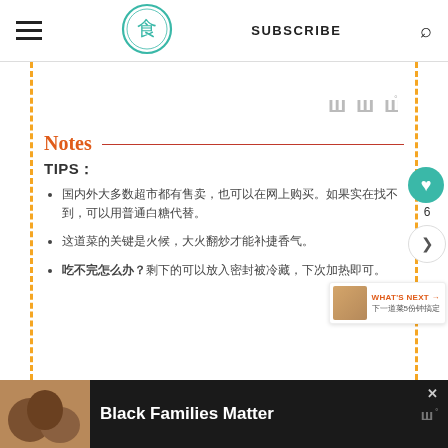SUBSCRIBE
[Figure (logo): Circular green logo with Chinese character and decorative border]
[Figure (other): Watermark logo mark in gray: three W shapes with superscript degree symbol]
Notes
TIPS:
Chinese text bullet item 1 (full line of Chinese characters)
Chinese text bullet item 2 (line of Chinese characters)
Bold Chinese text question followed by more Chinese characters
WHAT'S NEXT → Chinese text 5 Chinese text
Black Families Matter